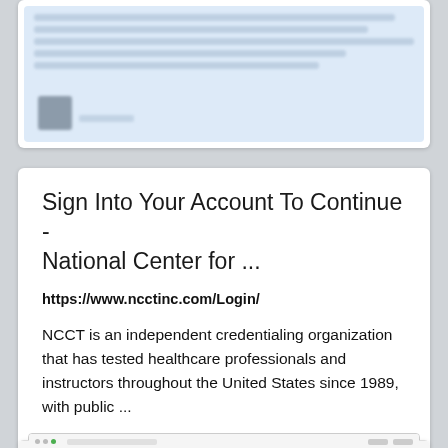[Figure (screenshot): Blurred screenshot of a social media or web page with light blue background, small avatar icon visible at bottom left]
Sign Into Your Account To Continue - National Center for ...
https://www.ncctinc.com/Login/
NCCT is an independent credentialing organization that has tested healthcare professionals and instructors throughout the United States since 1989, with public ...
[Figure (screenshot): Screenshot of the NCCT website (ncctinc.com) showing the NCCT logo, navigation bar, and a hero image with healthcare professionals]